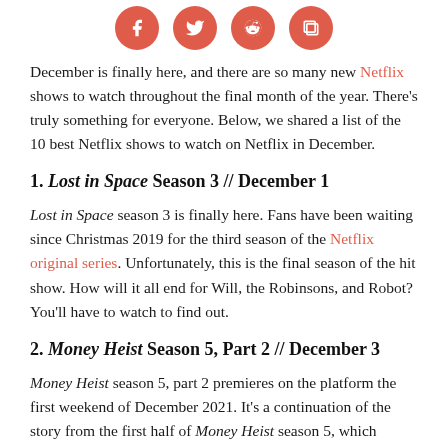[Figure (other): Four red circular social media icons for Facebook, Twitter, Reddit, and a copy/share button]
December is finally here, and there are so many new Netflix shows to watch throughout the final month of the year. There’s truly something for everyone. Below, we shared a list of the 10 best Netflix shows to watch on Netflix in December.
1. Lost in Space Season 3 // December 1
Lost in Space season 3 is finally here. Fans have been waiting since Christmas 2019 for the third season of the Netflix original series. Unfortunately, this is the final season of the hit show. How will it all end for Will, the Robinsons, and Robot? You’ll have to watch to find out.
2. Money Heist Season 5, Part 2 // December 3
Money Heist season 5, part 2 premieres on the platform the first weekend of December 2021. It’s a continuation of the story from the first half of Money Heist season 5, which